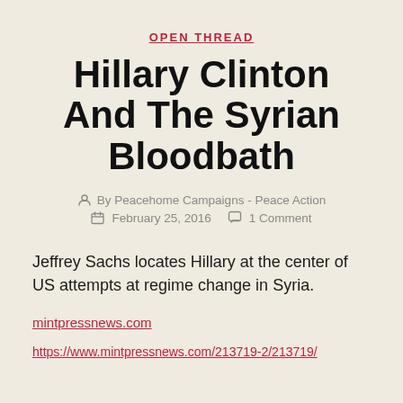OPEN THREAD
Hillary Clinton And The Syrian Bloodbath
By Peacehome Campaigns - Peace Action
February 25, 2016   1 Comment
Jeffrey Sachs locates Hillary at the center of US attempts at regime change in Syria.
mintpressnews.com
https://www.mintpressnews.com/213719-2/213719/